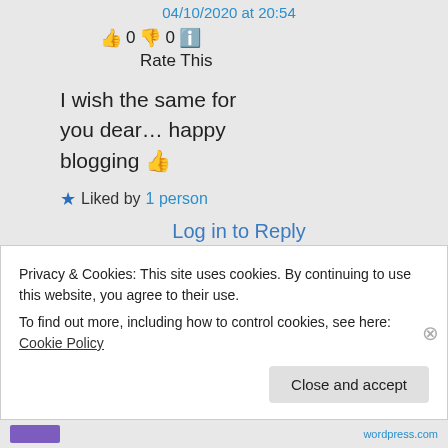04/10/2020 at 20:54
👍 0 👎 0 ℹ️
Rate This
I wish the same for you dear… happy blogging 👍
★ Liked by 1 person
Log in to Reply
Privacy & Cookies: This site uses cookies. By continuing to use this website, you agree to their use.
To find out more, including how to control cookies, see here: Cookie Policy